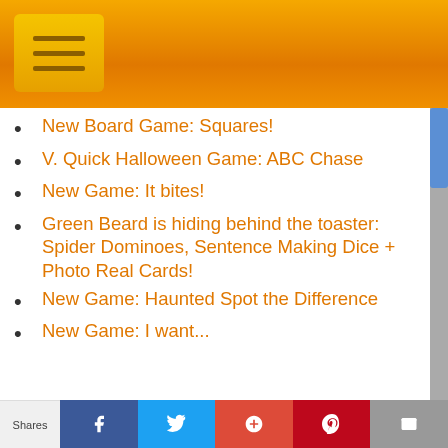[Figure (other): Orange navigation top bar with hamburger menu button]
New Board Game: Squares!
V. Quick Halloween Game: ABC Chase
New Game: It bites!
Green Beard is hiding behind the toaster: Spider Dominoes, Sentence Making Dice + Photo Real Cards!
New Game: Haunted Spot the Difference
New Game: I want...
Shares | f | Twitter | G+ | Pinterest | mail